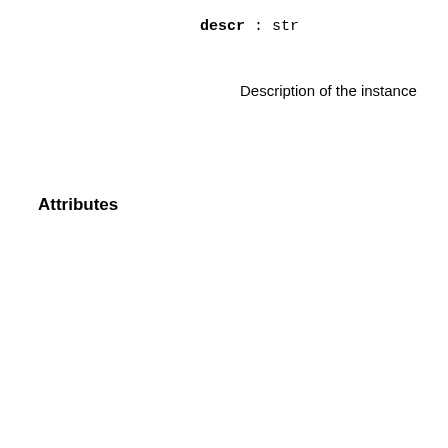descr : str
Description of the instance
Attributes
| Attribute | Description |
| --- | --- |
| auto_train | Whether the Learner performs automatic trainingwhen called untrained. |
| descr | Description of the object if any |
| force_train | Whether the Learner enforces |